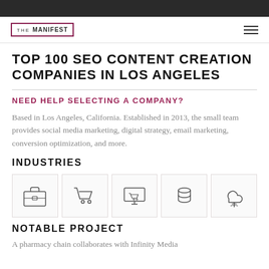THE MANIFEST
TOP 100 SEO CONTENT CREATION COMPANIES IN LOS ANGELES
NEED HELP SELECTING A COMPANY?
Based in Los Angeles, California. Established in 2013, the small team provides social media marketing, digital strategy, email marketing, conversion optimization, and more.
INDUSTRIES
[Figure (illustration): Five industry icons: briefcase, shopping cart, computer/monitor with shopping, stacked coins/database, and cloud with tree]
NOTABLE PROJECT
A pharmacy chain collaborates with Infinity Media